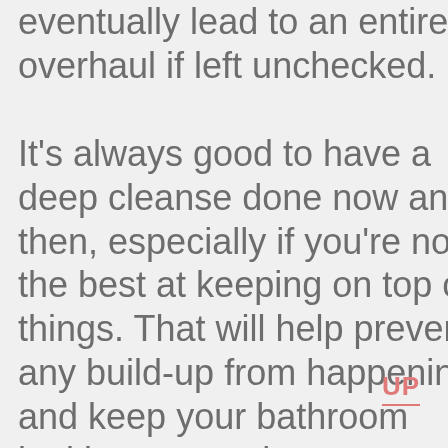eventually lead to an entire overhaul if left unchecked.

It's always good to have a deep cleanse done now and then, especially if you're not the best at keeping on top of things. That will help prevent any build-up from happening and keep your bathroom looking as good as
UP